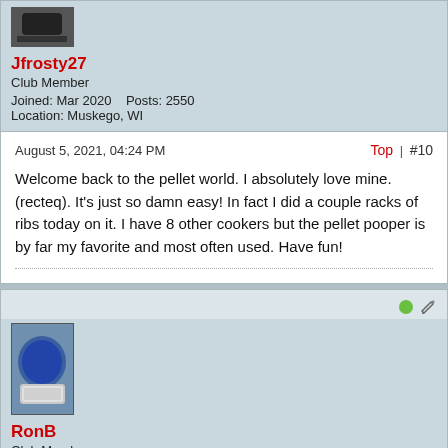[Figure (photo): Avatar photo of Jfrosty27 showing a dark grill/cooker]
Jfrosty27
Club Member
Joined: Mar 2020    Posts: 2550
Location: Muskego, WI
August 5, 2021, 04:24 PM
Top | #10
Welcome back to the pellet world. I absolutely love mine. (recteq). It's just so damn easy! In fact I did a couple racks of ribs today on it. I have 8 other cookers but the pellet pooper is by far my favorite and most often used. Have fun!
[Figure (photo): Avatar photo of RonB showing a blue Weber kettle grill]
RonB
Club Member